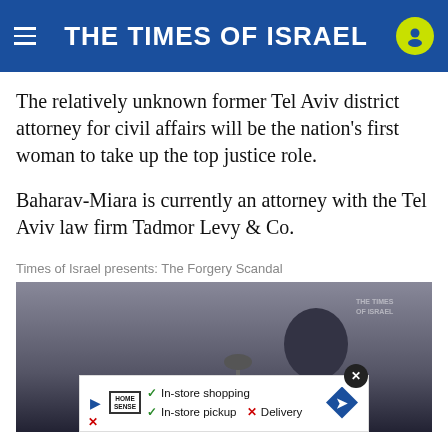THE TIMES OF ISRAEL
The relatively unknown former Tel Aviv district attorney for civil affairs will be the nation’s first woman to take up the top justice role.
Baharav-Miara is currently an attorney with the Tel Aviv law firm Tadmor Levy & Co.
Times of Israel presents: The Forgery Scandal
[Figure (photo): Video thumbnail showing a man at a podium with a microphone, with 'THE TIMES OF ISRAEL' watermark in the corner. An advertisement overlay at the bottom shows Home Sense store ad with checkmarks for In-store shopping, In-store pickup, and an X for Delivery.]